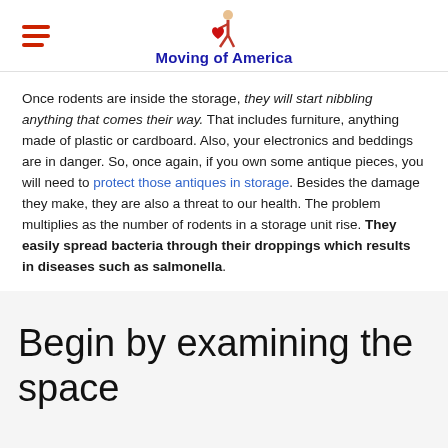Moving of America
Once rodents are inside the storage, they will start nibbling anything that comes their way. That includes furniture, anything made of plastic or cardboard. Also, your electronics and beddings are in danger. So, once again, if you own some antique pieces, you will need to protect those antiques in storage. Besides the damage they make, they are also a threat to our health. The problem multiplies as the number of rodents in a storage unit rise. They easily spread bacteria through their droppings which results in diseases such as salmonella.
Begin by examining the space